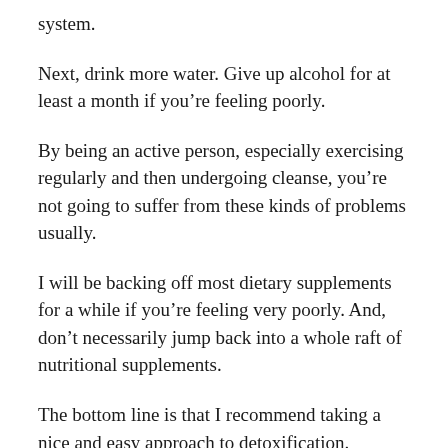system.
Next, drink more water. Give up alcohol for at least a month if you're feeling poorly.
By being an active person, especially exercising regularly and then undergoing cleanse, you're not going to suffer from these kinds of problems usually.
I will be backing off most dietary supplements for a while if you're feeling very poorly. And, don't necessarily jump back into a whole raft of nutritional supplements.
The bottom line is that I recommend taking a nice and easy approach to detoxification. Following a system that has been put together by a knowledgeable practitioner is the way to go.